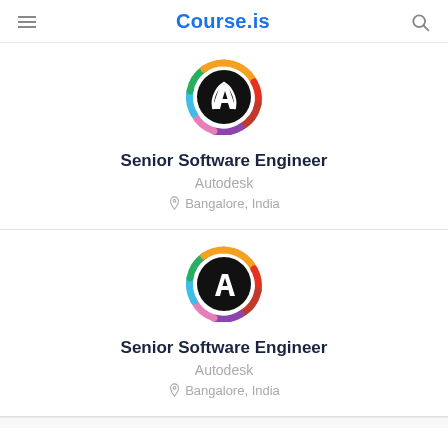Course.is
[Figure (logo): Autodesk colorful circular logo on black background]
Senior Software Engineer
Autodesk
Bangalore, India
[Figure (logo): Autodesk colorful circular logo on black background]
Senior Software Engineer
Autodesk
Bangalore, India